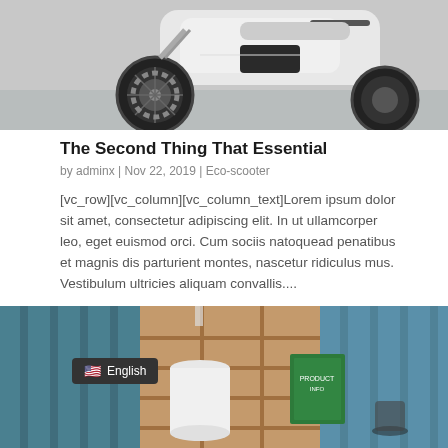[Figure (photo): Close-up photo of a white electric scooter wheel and lower body on a wet surface]
The Second Thing That Essential
by adminx | Nov 22, 2019 | Eco-scooter
[vc_row][vc_column][vc_column_text]Lorem ipsum dolor sit amet, consectetur adipiscing elit. In ut ullamcorper leo, eget euismod orci. Cum sociis natoquead penatibus et magnis dis parturient montes, nascetur ridiculus mus. Vestibulum ultricies aliquam convallis....
[Figure (photo): Interior showroom photo with shelving, a white cylindrical display, and an English language badge overlay in the bottom-left corner]